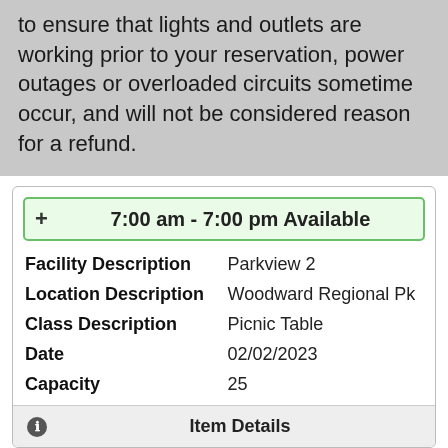to ensure that lights and outlets are working prior to your reservation, power outages or overloaded circuits sometime occur, and will not be considered reason for a refund.
+ 7:00 am - 7:00 pm Available
| Facility Description | Parkview 2 |
| Location Description | Woodward Regional Pk |
| Class Description | Picnic Table |
| Date | 02/02/2023 |
| Capacity | 25 |
Item Details
Parkview 3 - PICTB_WPARK_PKV3
[Figure (photo): Outdoor park photo showing green trees and vegetation]